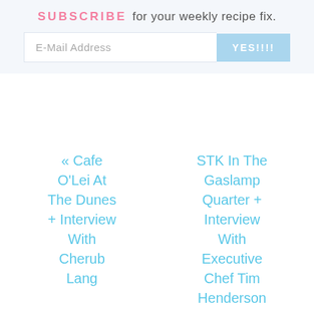SUBSCRIBE for your weekly recipe fix.
E-Mail Address  YES!!!!
« Cafe O'Lei At The Dunes + Interview With Cherub Lang
STK In The Gaslamp Quarter + Interview With Executive Chef Tim Henderson »